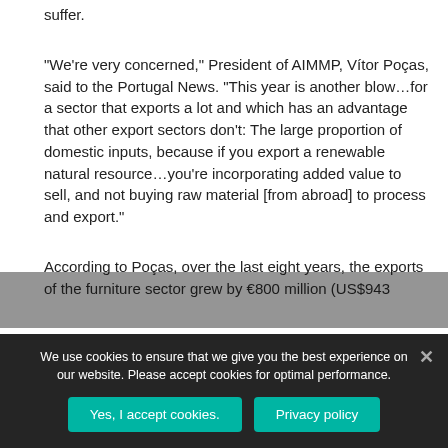suffer.
“We’re very concerned,” President of AIMMP, Vítor Poças, said to the Portugal News. “This year is another blow…for a sector that exports a lot and which has an advantage that other export sectors don’t: The large proportion of domestic inputs, because if you export a renewable natural resource…you’re incorporating added value to sell, and not buying raw material [from abroad] to process and export.”
According to Poças, over the last eight years, the exports of the furniture sector grew by €800 million (US$943
We use cookies to ensure that we give you the best experience on our website. Please accept cookies for optimal performance.
Yes, I accept cookies.
Privacy policy